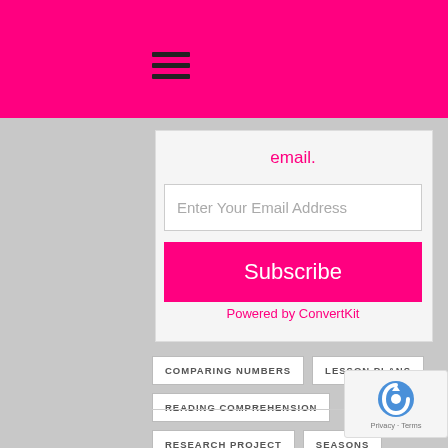[Figure (screenshot): Pink navigation header bar with hamburger menu icon]
email.
Enter Your Email Address
Subscribe
Powered by ConvertKit
COMPARING NUMBERS
LESSON PLANS
READING COMPREHENSION
RESEARCH PROJECT
SEASONS